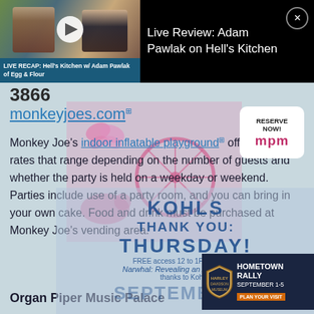[Figure (screenshot): Video thumbnail showing two people in a video call/recording with a play button overlay. Caption reads: LIVE RECAP: Hell's Kitchen w/ Adam Pawlak of Egg & Flour]
Live Review: Adam Pawlak on Hell's Kitchen
3866
monkeyjoes.com
Monkey Joe's indoor inflatable playground offers party rates that range depending on the number of guests and whether the party is held on a weekday or weekend. Parties include use of a party room, and you can bring in your own cake. Food and drink must be purchased at Monkey Joe's vending area.
[Figure (infographic): MPM Reserve Now advertisement with pink bicycle and butterfly decorations]
[Figure (infographic): Kohl's Thank You Thursday advertisement with Narwhal: Revealing an Arctic Legend free access promo]
[Figure (infographic): Harley-Davidson Museum Hometown Rally September 1-5 advertisement with Plan Your Visit button]
Organ Piper Music Palace